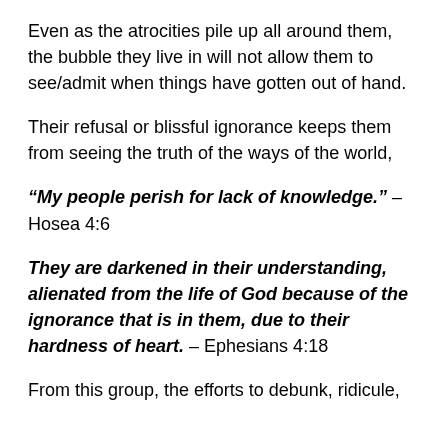Even as the atrocities pile up all around them, the bubble they live in will not allow them to see/admit when things have gotten out of hand.
Their refusal or blissful ignorance keeps them from seeing the truth of the ways of the world,
“My people perish for lack of knowledge.” – Hosea 4:6
They are darkened in their understanding, alienated from the life of God because of the ignorance that is in them, due to their hardness of heart. – Ephesians 4:18
From this group, the efforts to debunk, ridicule,